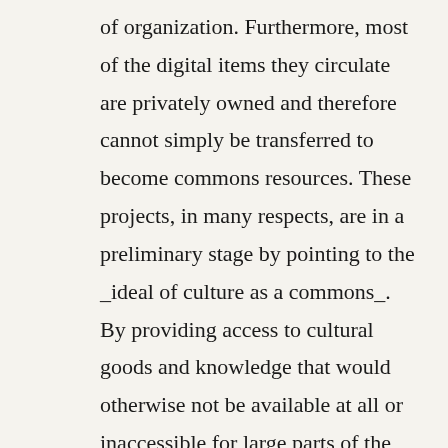of organization. Furthermore, most of the digital items they circulate are privately owned and therefore cannot simply be transferred to become commons resources. These projects, in many respects, are in a preliminary stage by pointing to the _ideal of culture as a commons_. By providing access to cultural goods and knowledge that would otherwise not be available at all or inaccessible for large parts of the general public, they might even fulfill the function of a “commons fix”, to a certain